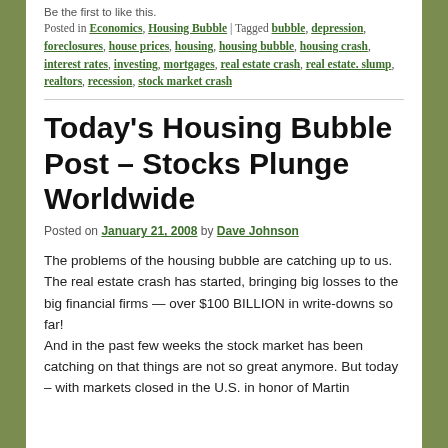Be the first to like this.
Posted in Economics, Housing Bubble | Tagged bubble, depression, foreclosures, house prices, housing, housing bubble, housing crash, interest rates, investing, mortgages, real estate crash, real estate. slump, realtors, recession, stock market crash
Today's Housing Bubble Post – Stocks Plunge Worldwide
Posted on January 21, 2008 by Dave Johnson
The problems of the housing bubble are catching up to us. The real estate crash has started, bringing big losses to the big financial firms — over $100 BILLION in write-downs so far!
And in the past few weeks the stock market has been catching on that things are not so great anymore. But today – with markets closed in the U.S. in honor of Martin